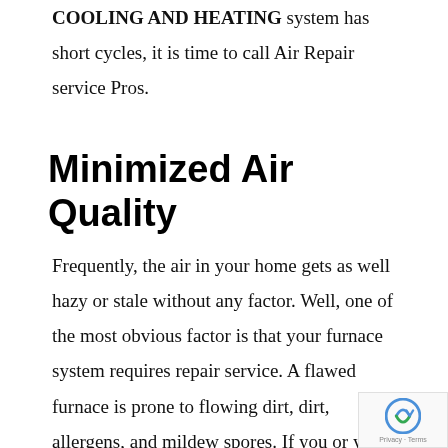COOLING AND HEATING system has short cycles, it is time to call Air Repair service Pros.
Minimized Air Quality
Frequently, the air in your home gets as well hazy or stale without any factor. Well, one of the most obvious factor is that your furnace system requires repair service. A flawed furnace is prone to flowing dirt, dirt, allergens, and mildew spores. If you or your